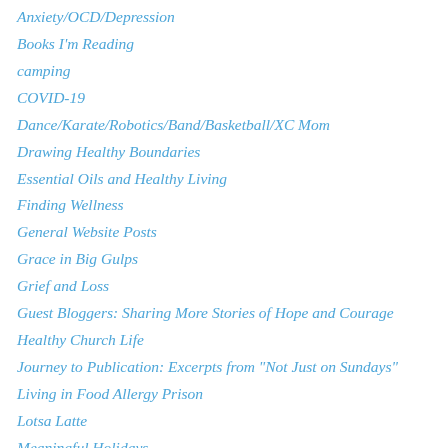Anxiety/OCD/Depression
Books I'm Reading
camping
COVID-19
Dance/Karate/Robotics/Band/Basketball/XC Mom
Drawing Healthy Boundaries
Essential Oils and Healthy Living
Finding Wellness
General Website Posts
Grace in Big Gulps
Grief and Loss
Guest Bloggers: Sharing More Stories of Hope and Courage
Healthy Church Life
Journey to Publication: Excerpts from "Not Just on Sundays"
Living in Food Allergy Prison
Lotsa Latte
Meaningful Holidays
Ministry Moments
Other Places Where I Blog
Processing Political Angst with God